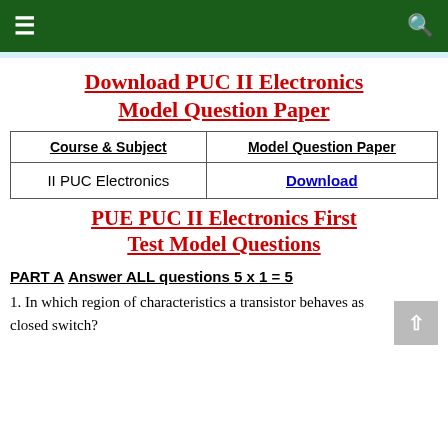☰  Q
Download PUC II Electronics Model Question Paper
| Course & Subject | Model Question Paper |
| --- | --- |
| II PUC Electronics | Download |
PUE PUC II Electronics First Test Model Questions
PART A
Answer ALL questions 5 x 1 = 5
1. In which region of characteristics a transistor behaves as closed switch?